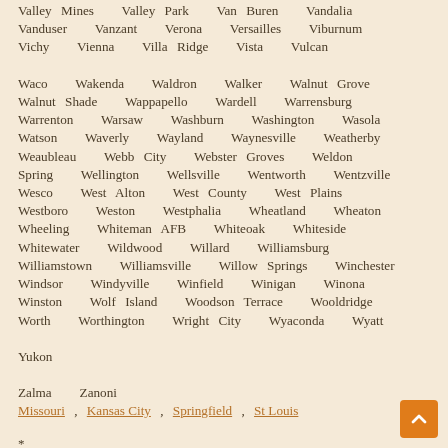Valley Mines   Valley Park   Van Buren   Vandalia   Vanduser   Vanzant   Verona   Versailles   Viburnum   Vichy   Vienna   Villa Ridge   Vista   Vulcan
Waco   Wakenda   Waldron   Walker   Walnut Grove   Walnut Shade   Wappapello   Wardell   Warrensburg   Warrenton   Warsaw   Washburn   Washington   Wasola   Watson   Waverly   Wayland   Waynesville   Weatherby   Weaubleau   Webb City   Webster Groves   Weldon Spring   Wellington   Wellsville   Wentworth   Wentzville   Wesco   West Alton   West County   West Plains   Westboro   Weston   Westphalia   Wheatland   Wheaton   Wheeling   Whiteman AFB   Whiteoak   Whiteside   Whitewater   Wildwood   Willard   Williamsburg   Williamstown   Williamsville   Willow Springs   Winchester   Windsor   Windyville   Winfield   Winigan   Winona   Winston   Wolf Island   Woodson Terrace   Wooldridge   Worth   Worthington   Wright City   Wyaconda   Wyatt
Yukon
Zalma   Zanoni
Missouri , Kansas City , Springfield , St Louis
*
*